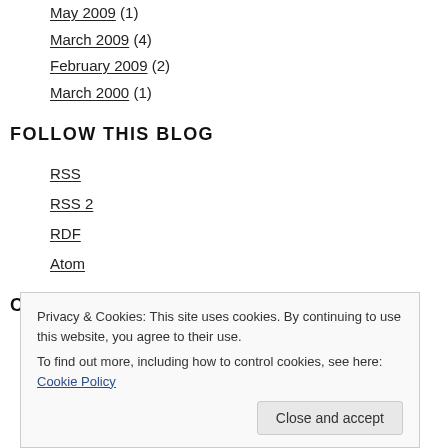May 2009 (1)
March 2009 (4)
February 2009 (2)
March 2000 (1)
FOLLOW THIS BLOG
RSS
RSS 2
RDF
Atom
CONTACT
hello@olliepalmer.com
Privacy & Cookies: This site uses cookies. By continuing to use this website, you agree to their use. To find out more, including how to control cookies, see here: Cookie Policy